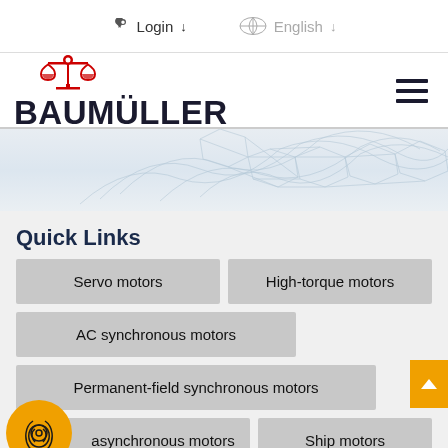Login  English
[Figure (logo): Baumüller logo with red scale icon and bold black BAUMULLER text]
[Figure (illustration): Abstract blue network/mesh wave hero banner illustration]
Quick Links
Servo motors
High-torque motors
AC synchronous motors
Permanent-field synchronous motors
asynchronous motors
Ship motors